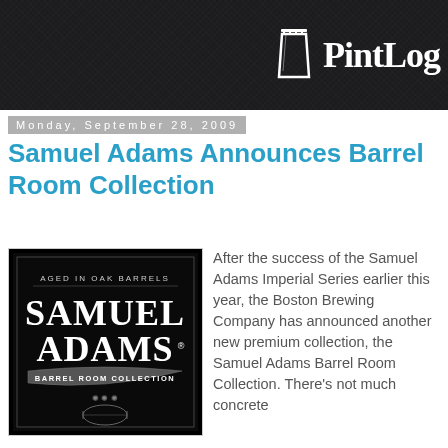PintLog
Monday, September 28, 2009
Samuel Adams Announces Barrel Room Collection
[Figure (logo): Samuel Adams Barrel Room Collection logo on black background with text 'Aged in Oak Barrels' and 'Barrel Room Collection']
After the success of the Samuel Adams Imperial Series earlier this year, the Boston Brewing Company has announced another new premium collection, the Samuel Adams Barrel Room Collection. There's not much concrete